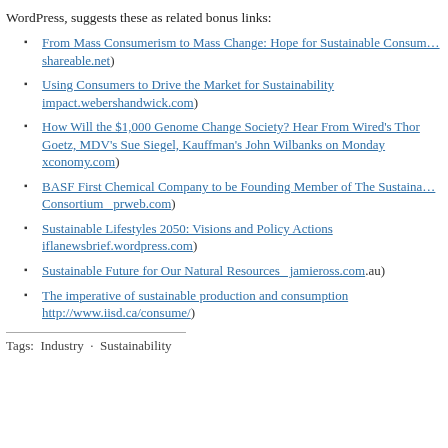WordPress, suggests these as related bonus links:
From Mass Consumerism to Mass Change: Hope for Sustainable Consum… shareable.net)
Using Consumers to Drive the Market for Sustainability impact.webershandwick.com)
How Will the $1,000 Genome Change Society? Hear From Wired's Thor Goetz, MDV's Sue Siegel, Kauffman's John Wilbanks on Monday xconomy.com)
BASF First Chemical Company to be Founding Member of The Sustaina… Consortium  prweb.com)
Sustainable Lifestyles 2050: Visions and Policy Actions iflanewsbrief.wordpress.com)
Sustainable Future for Our Natural Resources  jamieross.com.au)
The imperative of sustainable production and consumption http://www.iisd.ca/consume/)
Tags:  Industry  ·  Sustainability